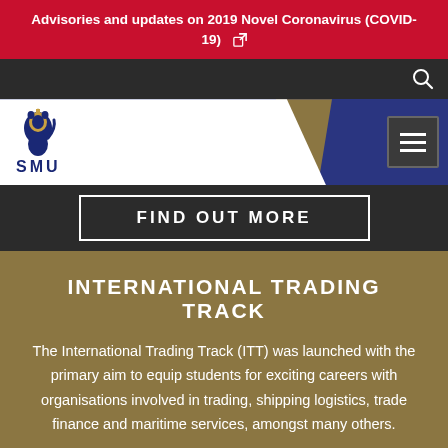Advisories and updates on 2019 Novel Coronavirus (COVID-19) [external link]
[Figure (screenshot): SMU (Singapore Management University) navigation bar with logo, dark background, search icon, and hamburger menu button]
FIND OUT MORE
INTERNATIONAL TRADING TRACK
The International Trading Track (ITT) was launched with the primary aim to equip students for exciting careers with organisations involved in trading, shipping logistics, trade finance and maritime services, amongst many others.